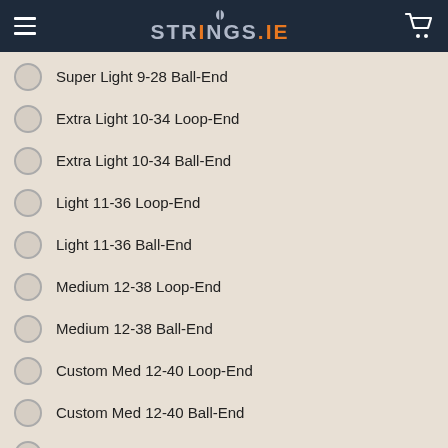STRINGS.ie
Super Light 9-28 Ball-End
Extra Light 10-34 Loop-End
Extra Light 10-34 Ball-End
Light 11-36 Loop-End
Light 11-36 Ball-End
Medium 12-38 Loop-End
Medium 12-38 Ball-End
Custom Med 12-40 Loop-End
Custom Med 12-40 Ball-End
Heavy 13-42 Loop-End
Heavy 13-42 Ball-End
Custom Heavy 13-42 Loop-End
Custom Heavy 13-42 Ball-End
QUANTITY: